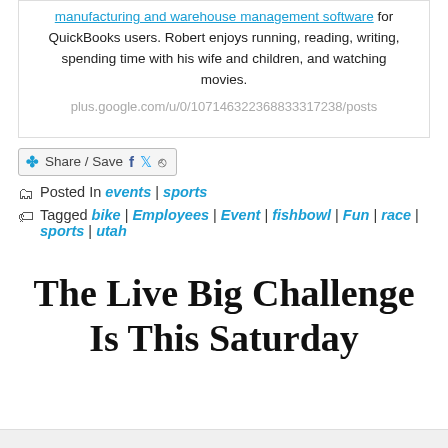manufacturing and warehouse management software for QuickBooks users. Robert enjoys running, reading, writing, spending time with his wife and children, and watching movies.

plus.google.com/u/0/107146322368833317238/posts
[Figure (other): Share / Save button with Facebook, Twitter, and more icons]
Posted In events | sports
Tagged bike | Employees | Event | fishbowl | Fun | race | sports | utah
The Live Big Challenge Is This Saturday